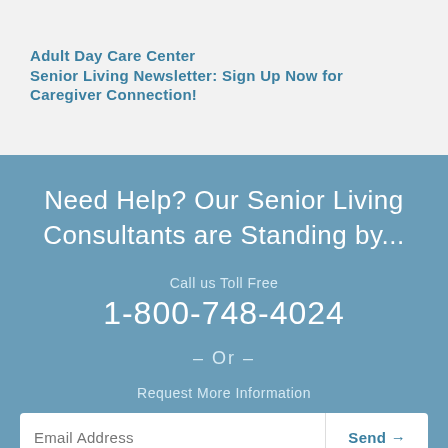Adult Day Care Center
Senior Living Newsletter: Sign Up Now for Caregiver Connection!
Need Help? Our Senior Living Consultants are Standing by...
Call us Toll Free
1-800-748-4024
– Or –
Request More Information